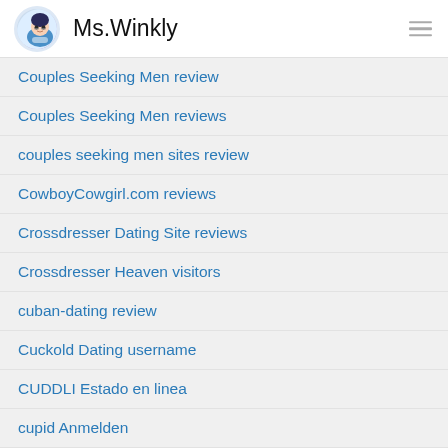Ms.Winkly
Couples Seeking Men review
Couples Seeking Men reviews
couples seeking men sites review
CowboyCowgirl.com reviews
Crossdresser Dating Site reviews
Crossdresser Heaven visitors
cuban-dating review
Cuckold Dating username
CUDDLI Estado en linea
cupid Anmelden
cupid cs review
Cupid desktop
cupid cs review